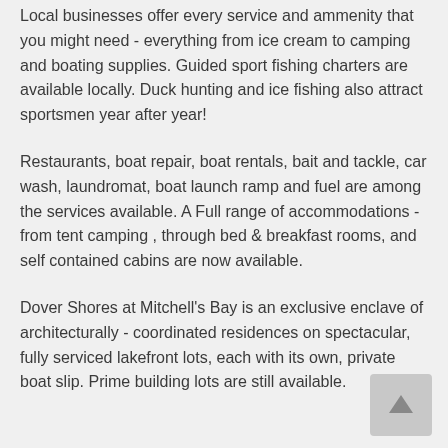Local businesses offer every service and ammenity that you might need - everything from ice cream to camping and boating supplies. Guided sport fishing charters are available locally. Duck hunting and ice fishing also attract sportsmen year after year!
Restaurants, boat repair, boat rentals, bait and tackle, car wash, laundromat, boat launch ramp and fuel are among the services available. A Full range of accommodations - from tent camping , through bed & breakfast rooms, and self contained cabins are now available.
Dover Shores at Mitchell's Bay is an exclusive enclave of architecturally - coordinated residences on spectacular, fully serviced lakefront lots, each with its own, private boat slip. Prime building lots are still available.